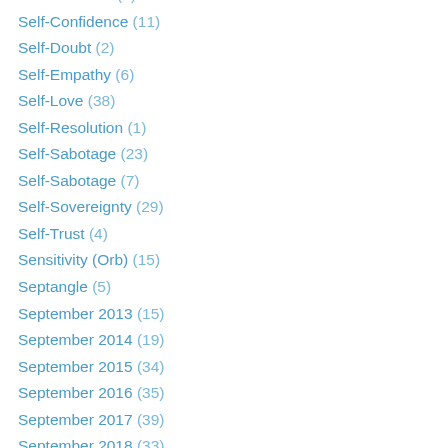Sedna-Nodes (3)
Self-Confidence (11)
Self-Doubt (2)
Self-Empathy (6)
Self-Love (38)
Self-Resolution (1)
Self-Sabotage (23)
Self-Sabotage (7)
Self-Sovereignty (29)
Self-Trust (4)
Sensitivity (Orb) (15)
Septangle (5)
September 2013 (15)
September 2014 (19)
September 2015 (34)
September 2016 (35)
September 2017 (39)
September 2018 (33)
September 2019 (18)